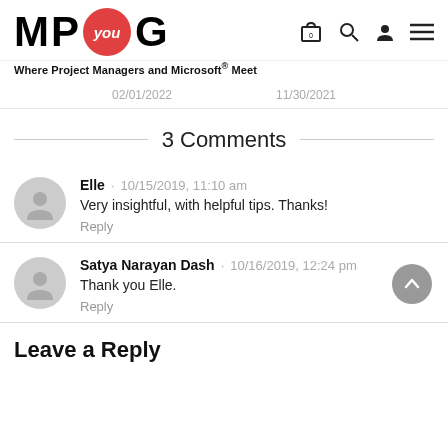M P you G — Where Project Managers and Microsoft® Meet
02/01/2022   11/30/2021
3 Comments
Elle · 10/15/2019, 11:10 am
Very insightful, with helpful tips. Thanks!
Reply
Satya Narayan Dash · 10/16/2019, 12:24 pm
Thank you Elle.
Reply
Leave a Reply